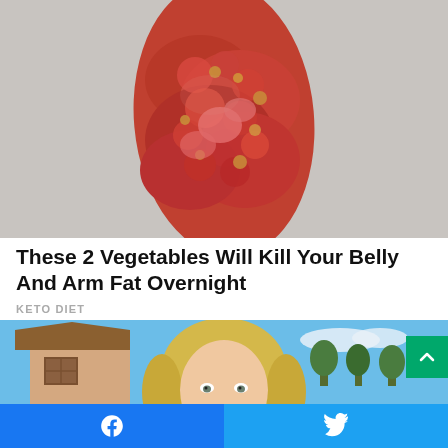[Figure (photo): Close-up photo of a piece of meat (appears to be crispy/cooked meat) held up against a light grey background.]
These 2 Vegetables Will Kill Your Belly And Arm Fat Overnight
KETO DIET
[Figure (photo): Partial photo of a blonde woman standing outdoors with a house and trees and blue sky in the background.]
Facebook share button | Twitter share button